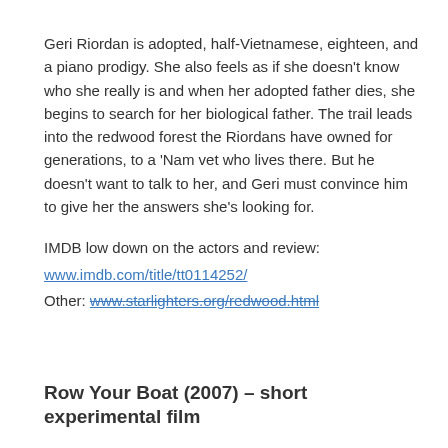Geri Riordan is adopted, half-Vietnamese, eighteen, and a piano prodigy. She also feels as if she doesn't know who she really is and when her adopted father dies, she begins to search for her biological father. The trail leads into the redwood forest the Riordans have owned for generations, to a 'Nam vet who lives there. But he doesn't want to talk to her, and Geri must convince him to give her the answers she's looking for.
IMDB low down on the actors and review:
www.imdb.com/title/tt0114252/
Other: www.starlighters.org/redwood.html
Row Your Boat (2007) – short experimental film